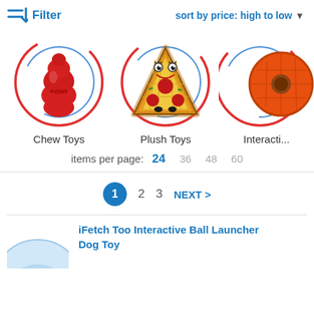Filter   sort by price: high to low ▼
[Figure (illustration): Three circular category icons: Chew Toys (red KONG toy), Plush Toys (pizza plush toy), Interactive (partially visible orange toy), each with red outer ring and blue inner ring]
Chew Toys    Plush Toys    Interacti...
items per page:  24  36  48  60
1  2  3  NEXT >
iFetch Too Interactive Ball Launcher Dog Toy